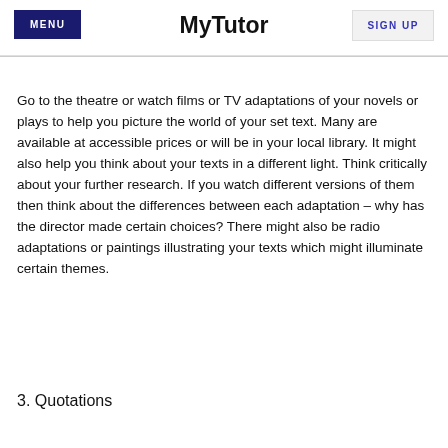MENU | MyTutor | SIGN UP
Go to the theatre or watch films or TV adaptations of your novels or plays to help you picture the world of your set text.  Many are available at accessible prices or will be in your local library.  It might also help you think about your texts in a different light.  Think critically about your further research.  If you watch different versions of them then think about the differences between each adaptation – why has the director made certain choices?  There might also be radio adaptations or paintings illustrating your texts which might illuminate certain themes.
3.  Quotations